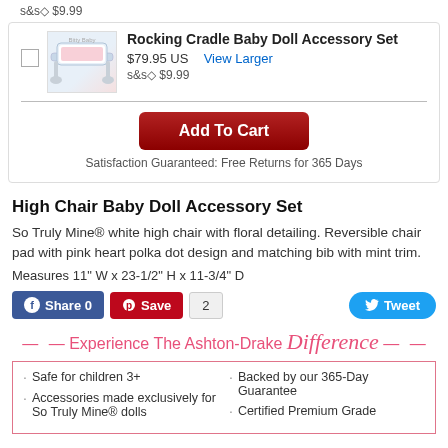s&s◇ $9.99
Rocking Cradle Baby Doll Accessory Set
$79.95 US  View Larger
s&s◇ $9.99
Add To Cart
Satisfaction Guaranteed: Free Returns for 365 Days
High Chair Baby Doll Accessory Set
So Truly Mine® white high chair with floral detailing. Reversible chair pad with pink heart polka dot design and matching bib with mint trim.
Measures 11" W x 23-1/2" H x 11-3/4" D
Share 0  Save  2  Tweet
Experience The Ashton-Drake Difference
Safe for children 3+
Accessories made exclusively for So Truly Mine® dolls
Backed by our 365-Day Guarantee
Certified Premium Grade